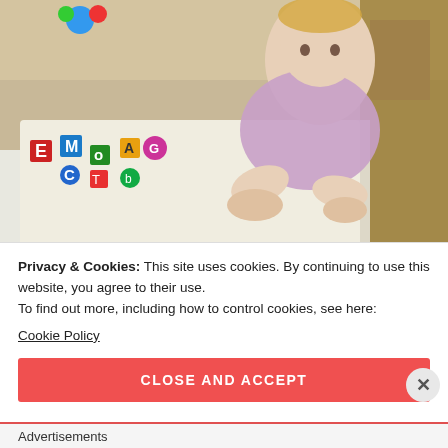[Figure (photo): A young toddler child leaning over a colorful alphabet/picture book, pressing hands on the pages. Background shows a home interior with toys and furniture.]
Privacy & Cookies: This site uses cookies. By continuing to use this website, you agree to their use.
To find out more, including how to control cookies, see here:
Cookie Policy
CLOSE AND ACCEPT
Advertisements